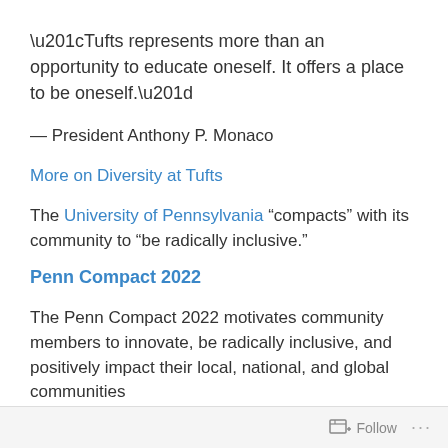“Tufts represents more than an opportunity to educate oneself. It offers a place to be oneself.”
— President Anthony P. Monaco
More on Diversity at Tufts
The University of Pennsylvania “compacts” with its community to “be radically inclusive.”
Penn Compact 2022
The Penn Compact 2022 motivates community members to innovate, be radically inclusive, and positively impact their local, national, and global communities
Follow ...